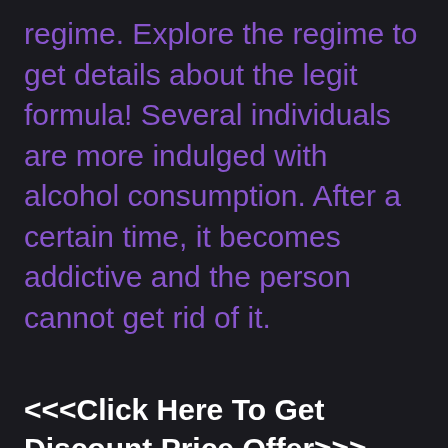regime. Explore the regime to get details about the legit formula! Several individuals are more indulged with alcohol consumption. After a certain time, it becomes addictive and the person cannot get rid of it.
<<<Click Here To Get Discount Price Offer>>>
<<<Click Here To Official Website>>>